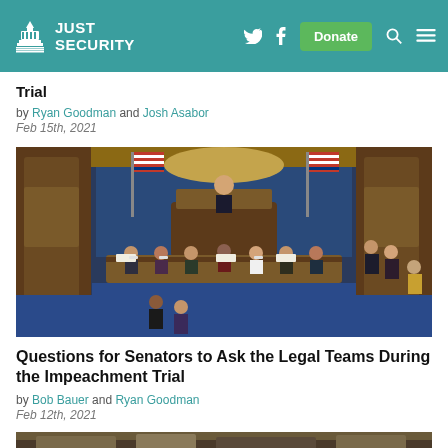Just Security — navigation bar with logo, Twitter, Facebook, Donate, Search, Menu
Trial
by Ryan Goodman and Josh Asabor
Feb 15th, 2021
[Figure (photo): Senate chamber during the impeachment trial, showing senators, legal teams, and the presiding officer at the dais, with the American flag and blue drapes visible in the background.]
Questions for Senators to Ask the Legal Teams During the Impeachment Trial
by Bob Bauer and Ryan Goodman
Feb 12th, 2021
[Figure (photo): Partial bottom image of another article, cut off at the bottom of the page.]